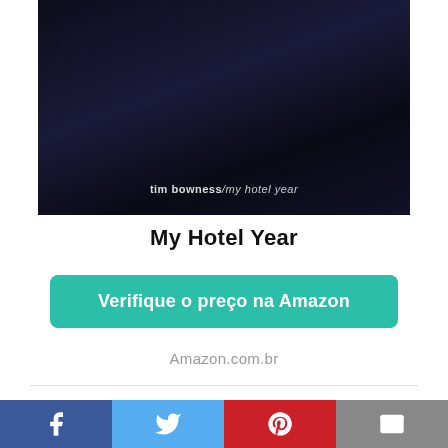[Figure (photo): Album cover for 'My Hotel Year' by Tim Bowness — dark navy/black background with the text 'tim bowness/my hotel year' visible near the bottom center]
My Hotel Year
Verifique o preço na Amazon
Amazon.com.br
[Figure (photo): Partial image of a light mint-green baby stroller/pram with silver frame visible from the upper portion]
Facebook | Twitter | Pinterest | Email social share buttons